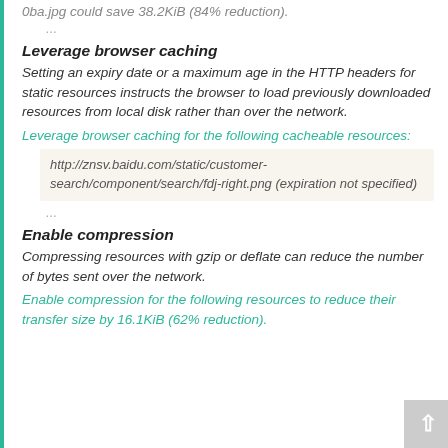0ba.jpg could save 38.2KiB (84% reduction).
...
Leverage browser caching
Setting an expiry date or a maximum age in the HTTP headers for static resources instructs the browser to load previously downloaded resources from local disk rather than over the network.
Leverage browser caching for the following cacheable resources:
http://znsv.baidu.com/static/customer-search/component/search/fdj-right.png (expiration not specified)
...
Enable compression
Compressing resources with gzip or deflate can reduce the number of bytes sent over the network.
Enable compression for the following resources to reduce their transfer size by 16.1KiB (62% reduction).